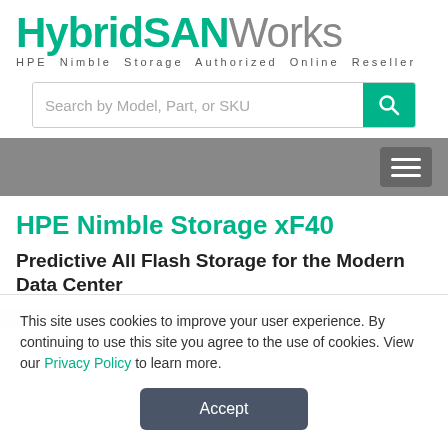HybridSANWorks
HPE Nimble Storage Authorized Online Reseller
[Figure (screenshot): Search bar with placeholder text 'Search by Model, Part, or SKU' and a teal search button with magnifying glass icon]
[Figure (screenshot): Gray navigation bar with hamburger menu icon on the right]
HPE Nimble Storage xF40
Predictive All Flash Storage for the Modern Data Center
This site uses cookies to improve your user experience. By continuing to use this site you agree to the use of cookies. View our Privacy Policy to learn more.
Accept